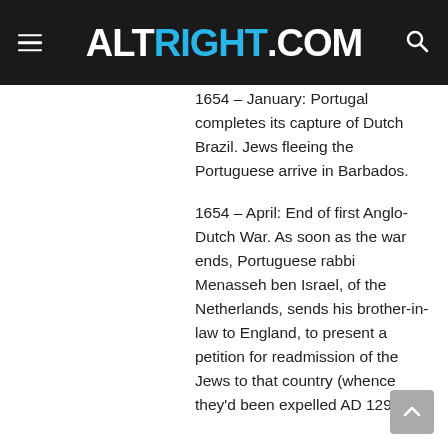ALTRIGHT.COM
1654 – January: Portugal completes its capture of Dutch Brazil. Jews fleeing the Portuguese arrive in Barbados.
1654 – April: End of first Anglo-Dutch War. As soon as the war ends, Portuguese rabbi Menasseh ben Israel, of the Netherlands, sends his brother-in-law to England, to present a petition for readmission of the Jews to that country (whence they'd been expelled AD 1290).